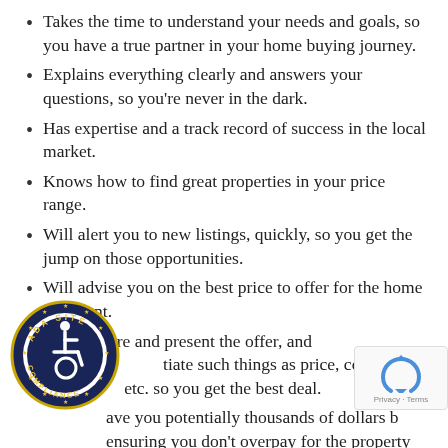Takes the time to understand your needs and goals, so you have a true partner in your home buying journey.
Explains everything clearly and answers your questions, so you’re never in the dark.
Has expertise and a track record of success in the local market.
Knows how to find great properties in your price range.
Will alert you to new listings, quickly, so you get the jump on those opportunities.
Will advise you on the best price to offer for the home you want.
Will prepare and present the offer, and skillfully negotiate such things as price, conditions, closing etc. so you get the best deal.
Save you potentially thousands of dollars by ensuring you don’t overpay for the property you